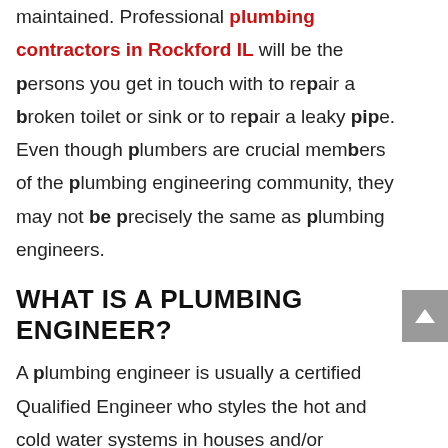maintained. Professional plumbing contractors in Rockford IL will be the persons you get in touch with to repair a broken toilet or sink or to repair a leaky pipe. Even though plumbers are crucial members of the plumbing engineering community, they may not be precisely the same as plumbing engineers.
WHAT IS A PLUMBING ENGINEER?
A plumbing engineer is usually a certified Qualified Engineer who styles the hot and cold water systems in houses and/or commercial buildings. When new